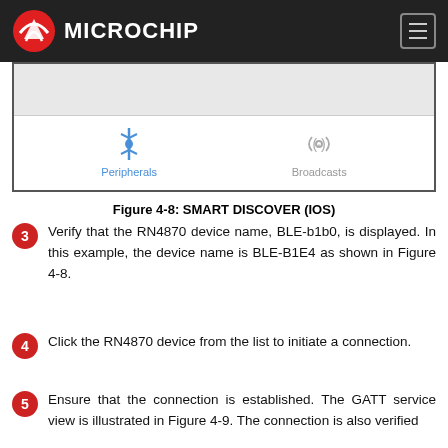Microchip
[Figure (screenshot): Screenshot of a mobile app showing two tabs at the bottom: 'Peripherals' with a Bluetooth icon and 'Broadcasts' with a radio wave icon. The Peripherals tab is active (blue).]
Figure 4-8: SMART DISCOVER (IOS)
3. Verify that the RN4870 device name, BLE-b1b0, is displayed. In this example, the device name is BLE-B1E4 as shown in Figure 4-8.
4. Click the RN4870 device from the list to initiate a connection.
5. Ensure that the connection is established. The GATT service view is illustrated in Figure 4-9. The connection is also verified